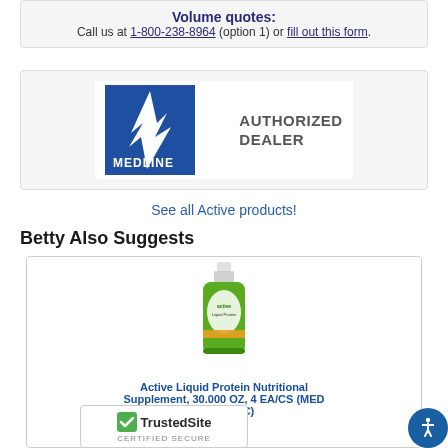Volume quotes: Call us at 1-800-238-8964 (option 1) or fill out this form.
[Figure (logo): Medline Authorized Dealer logo — blue square with white lightning bolt and MEDLINE text, beside 'AUTHORIZED DEALER' grey text]
See all Active products!
Betty Also Suggests
[Figure (photo): Green bottle of Active Liquid Protein Nutritional Supplement]
Active Liquid Protein Nutritional Supplement, 30.000 OZ, 4 EA/CS (MED ENT693OC)
[Figure (logo): TrustedSite Certified Secure badge]